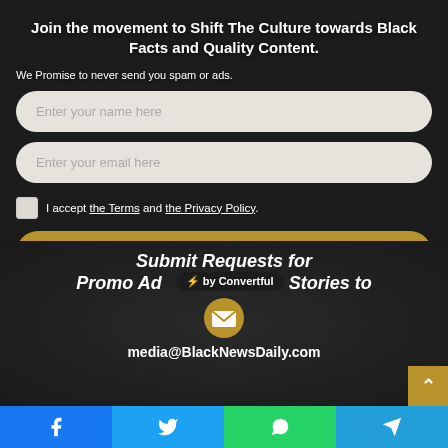Join the movement to Shift The Culture towards Black Facts and Quality Content.
We Promise to never send you spam or ads.
Enter your name here
Enter your email here
I accept the Terms and the Privacy Policy.
Subscribe
Submit Requests for Promo Ads and News Stories to
by Convertful
media@BlackNewsDaily.com
Facebook | Twitter | WhatsApp | Telegram